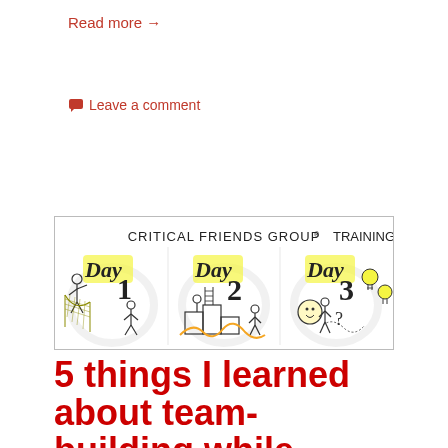Read more →
💬 Leave a comment
[Figure (illustration): Illustrated banner for Critical Friends Group® Training showing three days of training with hand-drawn stick figures and 'Day 1', 'Day 2', 'Day 3' labels in a sketchnote style]
5 things I learned about team-building while scribing